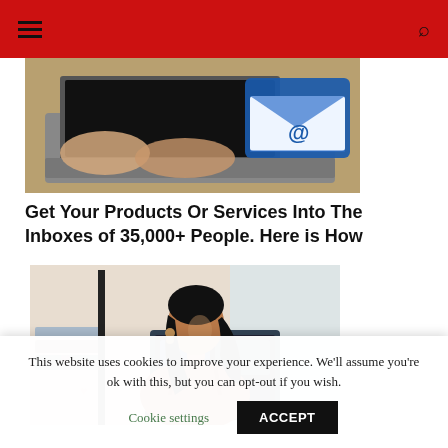Navigation header with hamburger menu and search icon
[Figure (photo): Hands typing on a laptop keyboard with an email envelope icon in the upper right, representing email marketing]
Get Your Products Or Services Into The Inboxes of 35,000+ People. Here is How
[Figure (photo): Smiling young woman with dark hair looking back over her shoulder at a laptop screen, sitting at a desk with books and papers in a bright room]
This website uses cookies to improve your experience. We'll assume you're ok with this, but you can opt-out if you wish.
Cookie settings   ACCEPT